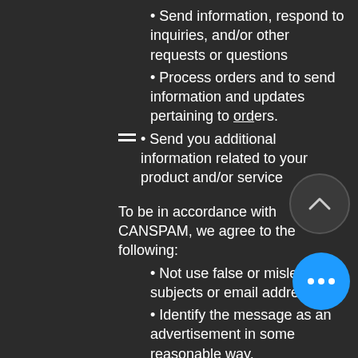• Send information, respond to inquiries, and/or other requests or questions
• Process orders and to send information and updates pertaining to orders.
• Send you additional information related to your product and/or service
To be in accordance with CANSPAM, we agree to the following:
• Not use false or misleading subjects or email addresses.
• Identify the message as an advertisement in some reasonable way.
• Include the physical address of our business or site headquarters.
• Monitor third-party email marketing services for compliance, if one is used.
• Honor opt-out/unsubscribe requests quickly.
• Allow users to unsubscribe by using the link at the bottom of each email.
If at any time you would like to unsubscribe from receiving future emails, you can email us at